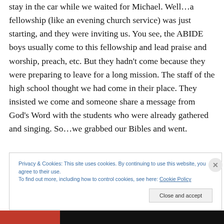stay in the car while we waited for Michael.  Well…a fellowship (like an evening church service) was just starting, and they were inviting us.  You see, the ABIDE boys usually come to this fellowship and lead praise and worship, preach, etc.  But they hadn't come because they were preparing to leave for a long mission.  The staff of the high school thought we had come in their place.  They insisted we come and someone share a message from God's Word with the students who were already gathered and singing.  So…we grabbed our Bibles and went.
Privacy & Cookies: This site uses cookies. By continuing to use this website, you agree to their use. To find out more, including how to control cookies, see here: Cookie Policy